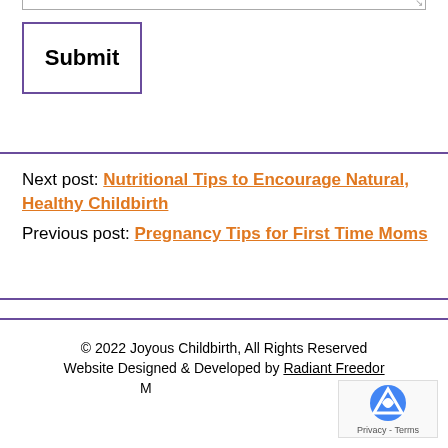[Figure (screenshot): Bottom edge of a textarea form field with resize handle]
Submit
Next post: Nutritional Tips to Encourage Natural, Healthy Childbirth
Previous post: Pregnancy Tips for First Time Moms
© 2022 Joyous Childbirth, All Rights Reserved
Website Designed & Developed by Radiant Freedom
M
[Figure (other): reCAPTCHA badge with logo and Privacy - Terms text]